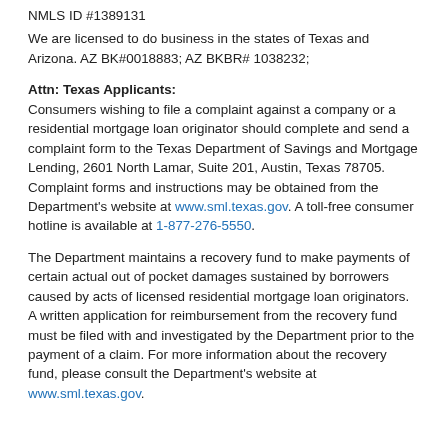NMLS ID #1389131
We are licensed to do business in the states of Texas and Arizona. AZ BK#0018883; AZ BKBR# 1038232;
Attn: Texas Applicants:
Consumers wishing to file a complaint against a company or a residential mortgage loan originator should complete and send a complaint form to the Texas Department of Savings and Mortgage Lending, 2601 North Lamar, Suite 201, Austin, Texas 78705. Complaint forms and instructions may be obtained from the Department's website at www.sml.texas.gov. A toll-free consumer hotline is available at 1-877-276-5550.
The Department maintains a recovery fund to make payments of certain actual out of pocket damages sustained by borrowers caused by acts of licensed residential mortgage loan originators. A written application for reimbursement from the recovery fund must be filed with and investigated by the Department prior to the payment of a claim. For more information about the recovery fund, please consult the Department's website at www.sml.texas.gov.